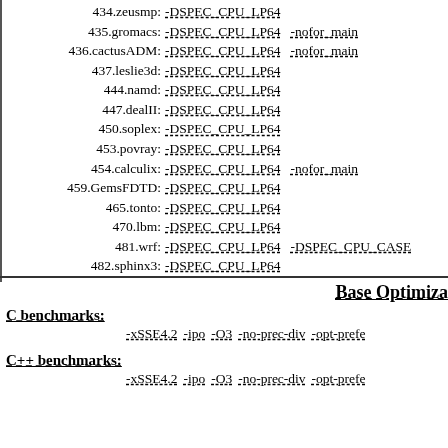434.zeusmp: -DSPEC_CPU_LP64
435.gromacs: -DSPEC_CPU_LP64  -nofor_main
436.cactusADM: -DSPEC_CPU_LP64  -nofor_main
437.leslie3d: -DSPEC_CPU_LP64
444.namd: -DSPEC_CPU_LP64
447.dealII: -DSPEC_CPU_LP64
450.soplex: -DSPEC_CPU_LP64
453.povray: -DSPEC_CPU_LP64
454.calculix: -DSPEC_CPU_LP64  -nofor_main
459.GemsFDTD: -DSPEC_CPU_LP64
465.tonto: -DSPEC_CPU_LP64
470.lbm: -DSPEC_CPU_LP64
481.wrf: -DSPEC_CPU_LP64  -DSPEC_CPU_CASE
482.sphinx3: -DSPEC_CPU_LP64
Base Optimization
C benchmarks:
-xSSE4.2 -ipo -O3 -no-prec-div -opt-prefe
C++ benchmarks:
-xSSE4.2 -ipo -O3 -no-prec-div -opt-prefe